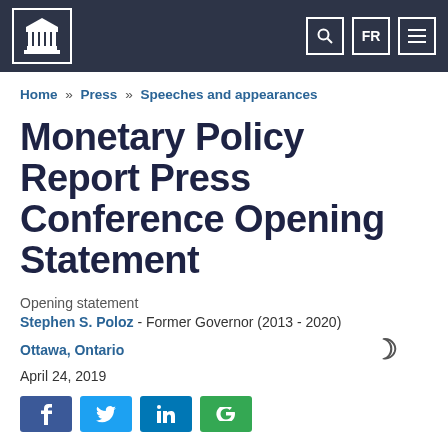Bank of Canada website header with logo, search, FR language toggle, and menu icons
Home » Press » Speeches and appearances
Monetary Policy Report Press Conference Opening Statement
Opening statement
Stephen S. Poloz - Former Governor (2013 - 2020)
Ottawa, Ontario
April 24, 2019
[Figure (other): Social sharing buttons: Facebook, Twitter, LinkedIn, Google+]